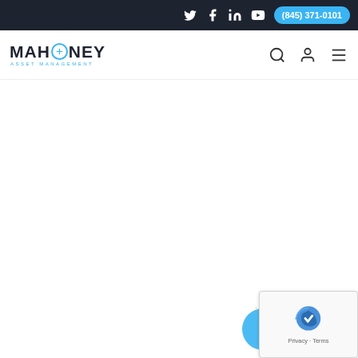Social media icons, phone number (845) 371-0101
[Figure (logo): Mahoney Asset Management logo with compass icon and blue subtitle text]
[Figure (other): reCAPTCHA widget with Privacy - Terms text, blue circle background, and dots icon]